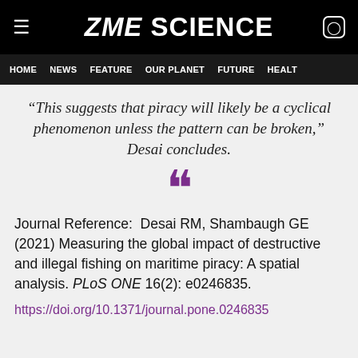ZME SCIENCE
HOME  NEWS  FEATURE  OUR PLANET  FUTURE  HEALT
“This suggests that piracy will likely be a cyclical phenomenon unless the pattern can be broken,” Desai concludes.
““
Journal Reference:  Desai RM, Shambaugh GE (2021) Measuring the global impact of destructive and illegal fishing on maritime piracy: A spatial analysis. PLoS ONE 16(2): e0246835.
https://doi.org/10.1371/journal.pone.0246835